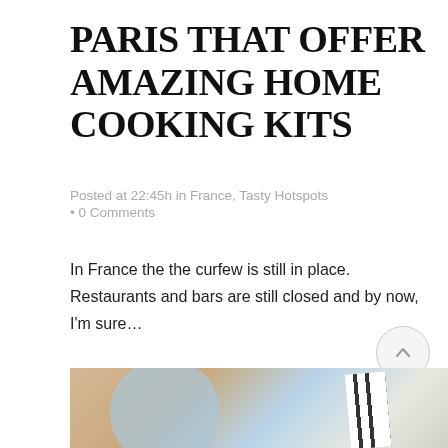PARIS THAT OFFER AMAZING HOME COOKING KITS
Posted at 22:45h in France, Tasty Hotspots · 0 Comments
In France the the curfew is still in place. Restaurants and bars are still closed and by now, I'm sure…
READ MORE
[Figure (photo): Food photo showing a blue plate with food, wooden table background, striped napkin visible]